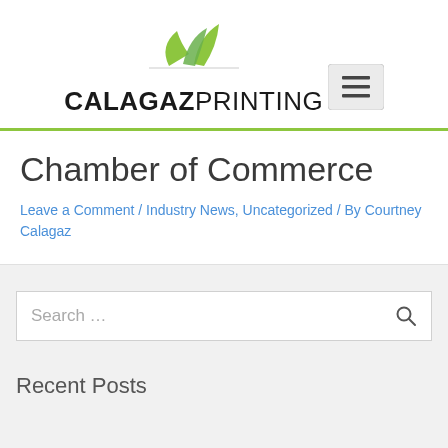[Figure (logo): Calagaz Printing logo with green paper/leaf graphic above the text CALAGAZPRINTING]
[Figure (other): Hamburger menu button (three horizontal lines) in a light gray rounded square]
Chamber of Commerce
Leave a Comment / Industry News, Uncategorized / By Courtney Calagaz
Search ...
Recent Posts